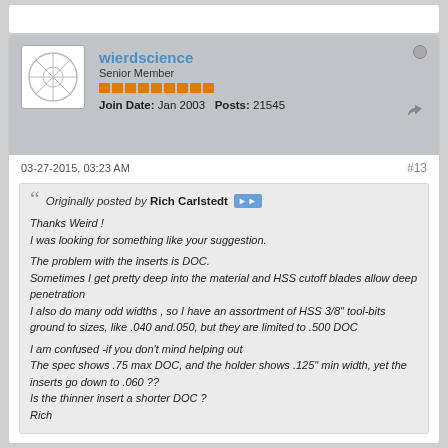wierdscience — Senior Member — Join Date: Jan 2003   Posts: 21545
03-27-2015, 03:23 AM
#13
Originally posted by Rich Carlstedt
Thanks Weird !
I was looking for something like your suggestion.

The problem with the inserts is DOC.
Sometimes I get pretty deep into the material and HSS cutoff blades allow deep penetration
I also do many odd widths , so I have an assortment of HSS 3/8" tool-bits ground to sizes, like .040 and.050, but they are limited to .500 DOC

I am confused -if you don't mind helping out
The spec shows .75 max DOC, and the holder shows .125" min width, yet the inserts go down to .060 ??
Is the thinner insert a shorter DOC ?
Rich